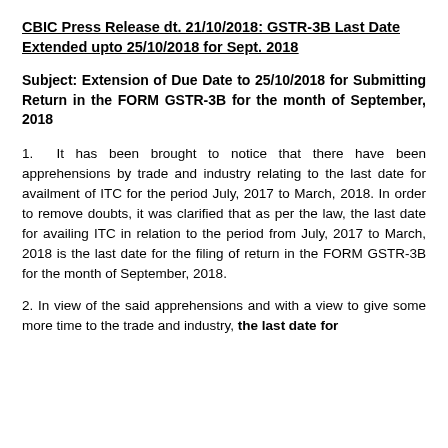CBIC Press Release dt. 21/10/2018: GSTR-3B Last Date Extended upto 25/10/2018 for Sept. 2018
Subject: Extension of Due Date to 25/10/2018 for Submitting Return in the FORM GSTR-3B for the month of September, 2018
1.  It has been brought to notice that there have been apprehensions by trade and industry relating to the last date for availment of ITC for the period July, 2017 to March, 2018. In order to remove doubts, it was clarified that as per the law, the last date for availing ITC in relation to the period from July, 2017 to March, 2018 is the last date for the filing of return in the FORM GSTR-3B for the month of September, 2018.
2. In view of the said apprehensions and with a view to give some more time to the trade and industry, the last date for